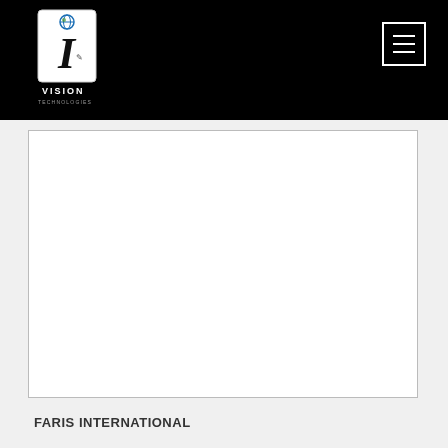iVision Technologies
[Figure (logo): iVision Technologies logo — white card shape with globe icon and stylized 'i' letter, text VISION TECHNOLOGIES below]
[Figure (other): Hamburger/navigation menu button — three horizontal white lines inside a white-bordered rectangle on black background]
[Figure (other): Large white content area / blank panel with thin border]
FARIS INTERNATIONAL